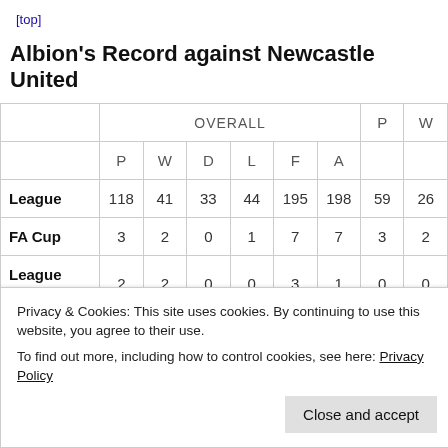[top]
Albion's Record against Newcastle United
|  | OVERALL (P) | OVERALL (W) | OVERALL (D) | OVERALL (L) | OVERALL (F) | OVERALL (A) | P | W |
| --- | --- | --- | --- | --- | --- | --- | --- | --- |
| League | 118 | 41 | 33 | 44 | 195 | 198 | 59 | 26 |
| FA Cup | 3 | 2 | 0 | 1 | 7 | 7 | 3 | 2 |
| League Cup | 2 | 2 | 0 | 0 | 3 | 1 | 0 | 0 |
Privacy & Cookies: This site uses cookies. By continuing to use this website, you agree to their use.
To find out more, including how to control cookies, see here: Privacy Policy